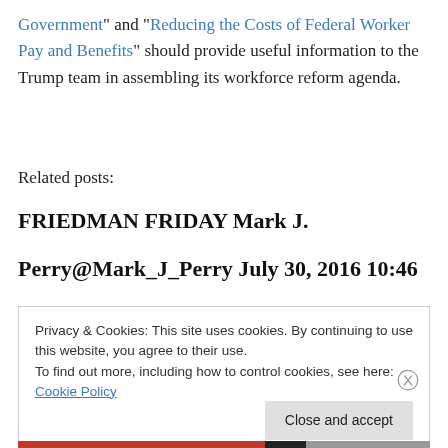Government" and "Reducing the Costs of Federal Worker Pay and Benefits" should provide useful information to the Trump team in assembling its workforce reform agenda.
Related posts:
FRIEDMAN FRIDAY Mark J.
Perry@Mark_J_Perry July 30, 2016 10:46
Privacy & Cookies: This site uses cookies. By continuing to use this website, you agree to their use.
To find out more, including how to control cookies, see here: Cookie Policy

Close and accept